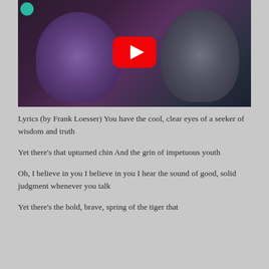[Figure (screenshot): YouTube video thumbnail showing two people face-to-face in a scene, with a red YouTube play button overlay in the center and a teal circle in the top-left corner.]
Lyrics (by Frank Loesser) You have the cool, clear eyes of a seeker of wisdom and truth
Yet there's that upturned chin And the grin of impetuous youth
Oh, I believe in you I believe in you I hear the sound of good, solid judgment whenever you talk
Yet there's the bold, brave, spring of the tiger that